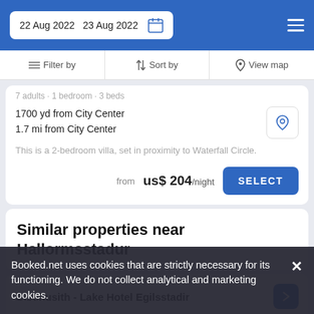22 Aug 2022  23 Aug 2022
Filter by   Sort by   View map
7 adults · 1 bedroom · 3 beds
1700 yd from City Center
1.7 mi from City Center
This is a 2-bedroom villa, set in proximity to Waterfall Circle.
from us$ 204/night
Similar properties near Hallormsstadur
Gistihusith - Lake Hotel Egilsstadir
Booked.net uses cookies that are strictly necessary for its functioning. We do not collect analytical and marketing cookies.